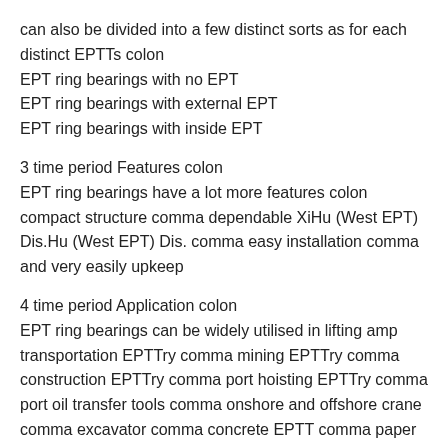can also be divided into a few distinct sorts as for each distinct EPTTs colon
EPT ring bearings with no EPT
EPT ring bearings with external EPT
EPT ring bearings with inside EPT
3 time period Features colon
EPT ring bearings have a lot more features colon compact structure comma dependable XiHu (West EPT) Dis.Hu (West EPT) Dis. comma easy installation comma and very easily upkeep
4 time period Application colon
EPT ring bearings can be widely utilised in lifting amp transportation EPTTry comma mining EPTTry comma construction EPTTry comma port hoisting EPTTry comma port oil transfer tools comma onshore and offshore crane comma excavator comma concrete EPTT comma paper EPTT comma plastic and rubber EPTT comma weave EPTT comma metal EPTT